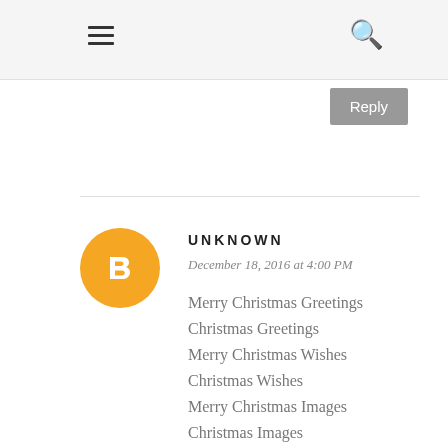≡  🔍
Reply
[Figure (logo): Blogger orange circle logo with white B icon]
UNKNOWN
December 18, 2016 at 4:00 PM
Merry Christmas Greetings
Christmas Greetings
Merry Christmas Wishes
Christmas Wishes
Merry Christmas Images
Christmas Images
Short Christmas Quotes
Christmas Quotes
Merry Christmas Quotes